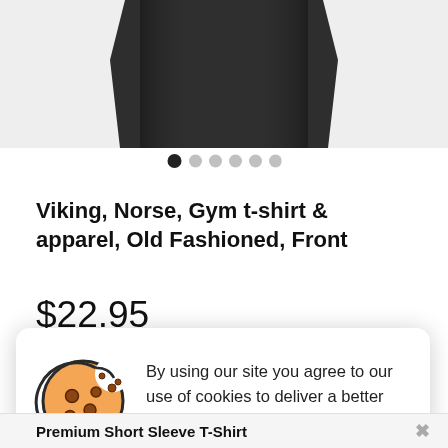[Figure (photo): Top portion of a black t-shirt product photo on a white/light gray background]
[Figure (other): Carousel dot navigation indicator with 6 dots; first dot is black (active), remaining 5 are gray]
Viking, Norse, Gym t-shirt & apparel, Old Fashioned, Front
$22.95
or 4 interest-free payments of $5.74 with sezzle
[Figure (illustration): Cookie emoji illustration: a round cookie with a bite taken out, chocolate chips, orange/tan color with dark border]
By using our site you agree to our use of cookies to deliver a better site experience.
I LIKE COOKIES
Premium Short Sleeve T-Shirt